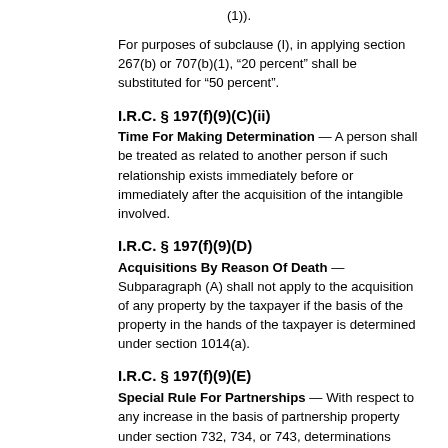(1)).
For purposes of subclause (I), in applying section 267(b) or 707(b)(1), “20 percent” shall be substituted for “50 percent”.
I.R.C. § 197(f)(9)(C)(ii)
Time For Making Determination — A person shall be treated as related to another person if such relationship exists immediately before or immediately after the acquisition of the intangible involved.
I.R.C. § 197(f)(9)(D)
Acquisitions By Reason Of Death — Subparagraph (A) shall not apply to the acquisition of any property by the taxpayer if the basis of the property in the hands of the taxpayer is determined under section 1014(a).
I.R.C. § 197(f)(9)(E)
Special Rule For Partnerships — With respect to any increase in the basis of partnership property under section 732, 734, or 743, determinations under this paragraph shall be made at the partner level and each partner shall be treated as having owned and used such partner’s proportionate share of the partnership assets.
I.R.C. § 197(f)(9)(F)
Anti-Abuse Rules — The term “amortizable section